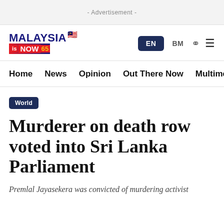- Advertisement -
[Figure (logo): Malaysia Now 65 logo with Malaysian flag icon, EN/BM language toggle, search and menu icons]
Home  News  Opinion  Out There Now  Multimedia
World
Murderer on death row voted into Sri Lanka Parliament
Premlal Jayasekera was convicted of murdering activist